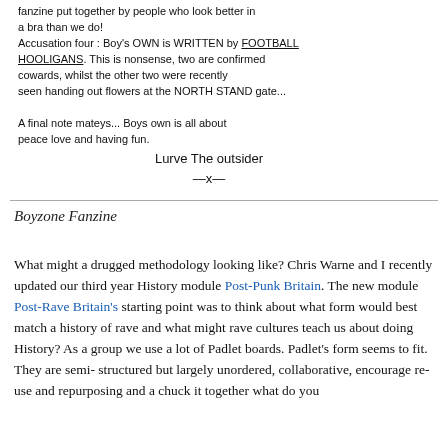fanzine put together by people who look better in a bra than we do!
Accusation four : Boy's Own is written by FOOTBALL HOOLIGANS. This is nonsense, two are confirmed cowards, whilst the other two were recently seen handing out flowers at the North Stand gate...
A final note mateys... Boys Own is all about peace love and having fun.
     Lurve The Outsider
          —x—
Boyzone Fanzine
What might a drugged methodology looking like?  Chris Warne and I recently updated our third year History module Post-Punk Britain. The new module Post-Rave Britain's starting point was to think about what form would best match a history of rave and what might rave cultures teach us about doing History? As a group we use a lot of Padlet boards. Padlet's form seems to fit. They are semi-structured but largely unordered, collaborative, encourage re-use and repurposing and a chuck it together what do you